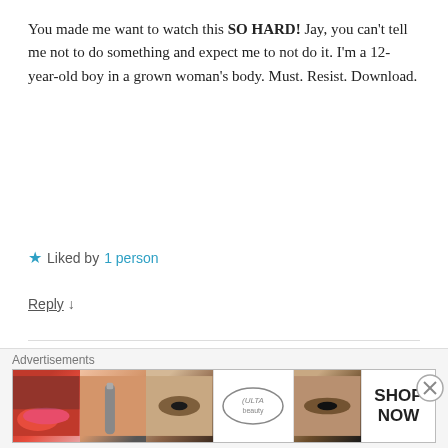You made me want to watch this SO HARD! Jay, you can't tell me not to do something and expect me to not do it. I'm a 12-year-old boy in a grown woman's body. Must. Resist. Download.
★ Liked by 1 person
Reply ↓
The Vern
April 13, 2017 at 8:57 am
I watched this and actually would have liked it way more
[Figure (advertisement): ULTA beauty advertisement banner with makeup imagery and SHOP NOW call to action]